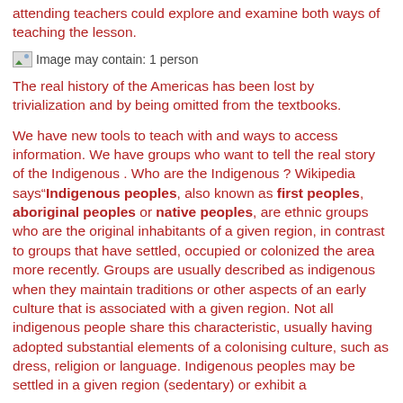attending teachers could explore and examine both ways of teaching the lesson.
[Figure (photo): Image may contain: 1 person]
The real history of the Americas has been lost by trivialization and by being omitted from the textbooks.
We have new tools to teach with and ways to access information. We have groups who want to tell the real story of the Indigenous . Who are the Indigenous ? Wikipedia says“Indigenous peoples, also known as first peoples, aboriginal peoples or native peoples, are ethnic groups who are the original inhabitants of a given region, in contrast to groups that have settled, occupied or colonized the area more recently. Groups are usually described as indigenous when they maintain traditions or other aspects of an early culture that is associated with a given region. Not all indigenous people share this characteristic, usually having adopted substantial elements of a colonising culture, such as dress, religion or language. Indigenous peoples may be settled in a given region (sedentary) or exhibit a